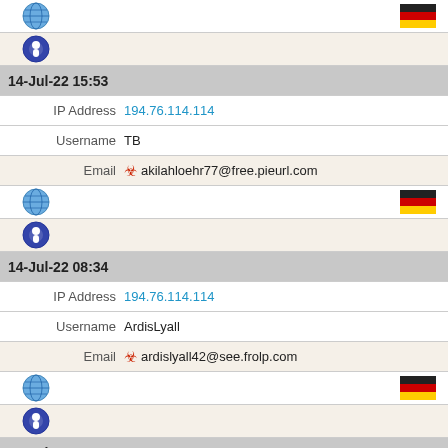[Figure (infographic): Row with globe icon on left and German flag on right]
[Figure (infographic): Row with Tor/Onion browser icon]
14-Jul-22 15:53
IP Address 194.76.114.114
Username TB
Email akilahloehr77@free.pieurl.com
[Figure (infographic): Row with globe icon on left and German flag on right]
[Figure (infographic): Row with Tor/Onion browser icon]
14-Jul-22 08:34
IP Address 194.76.114.114
Username ArdisLyall
Email ardislyall42@see.frolp.com
[Figure (infographic): Row with globe icon on left and German flag on right]
[Figure (infographic): Row with Tor/Onion browser icon]
14-Jul-22 04:10
IP Address 194.76.114.114
Username MarisolSta